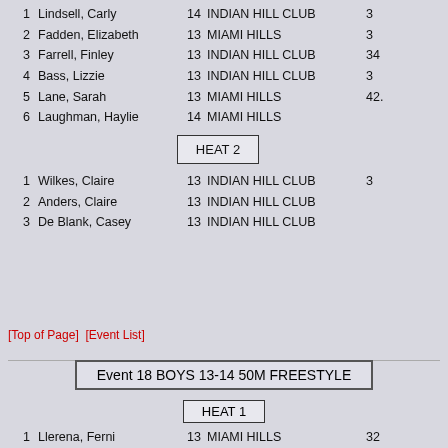1  Lindsell, Carly       14  INDIAN HILL CLUB   3
2  Fadden, Elizabeth     13  MIAMI HILLS        3
3  Farrell, Finley       13  INDIAN HILL CLUB   34
4  Bass, Lizzie          13  INDIAN HILL CLUB   3
5  Lane, Sarah           13  MIAMI HILLS        42.
6  Laughman, Haylie      14  MIAMI HILLS
HEAT 2
1  Wilkes, Claire        13  INDIAN HILL CLUB   3
2  Anders, Claire        13  INDIAN HILL CLUB
3  De Blank, Casey       13  INDIAN HILL CLUB
[Top of Page]  [Event List]
Event 18 BOYS 13-14 50M FREESTYLE
HEAT 1
1  Llerena, Ferni        13  MIAMI HILLS        32